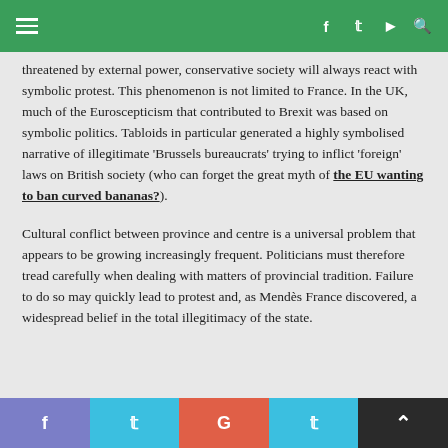≡  f  t  yt  🔍
threatened by external power, conservative society will always react with symbolic protest. This phenomenon is not limited to France. In the UK, much of the Euroscepticism that contributed to Brexit was based on symbolic politics. Tabloids in particular generated a highly symbolised narrative of illegitimate 'Brussels bureaucrats' trying to inflict 'foreign' laws on British society (who can forget the great myth of the EU wanting to ban curved bananas?).
Cultural conflict between province and centre is a universal problem that appears to be growing increasingly frequent. Politicians must therefore tread carefully when dealing with matters of provincial tradition. Failure to do so may quickly lead to protest and, as Mendès France discovered, a widespread belief in the total illegitimacy of the state.
f  t  G  ↑